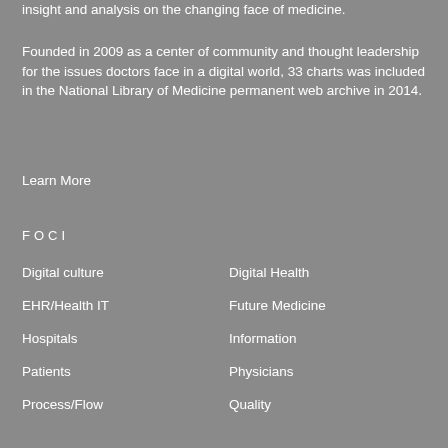insight and analysis on the changing face of medicine.
Founded in 2009 as a center of community and thought leadership for the issues doctors face in a digital world, 33 charts was included in the National Library of Medicine permanent web archive in 2014.
Learn More
FOCI
Digital culture
Digital Health
EHR/Health IT
Future Medicine
Hospitals
Information
Patients
Physicians
Process/Flow
Quality